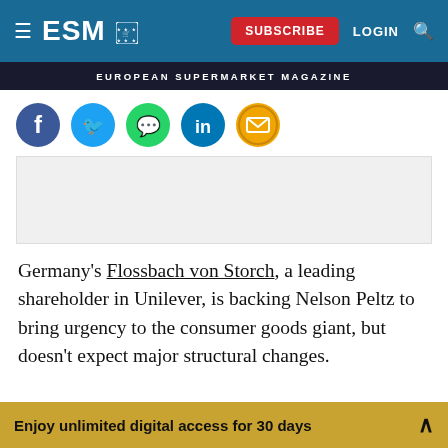ESM – EUROPEAN SUPERMARKET MAGAZINE
[Figure (infographic): Social media sharing icons: Facebook, Twitter, WhatsApp, LinkedIn, Email]
[Figure (other): Advertisement placeholder (grey rectangle)]
Germany's Flossbach von Storch, a leading shareholder in Unilever, is backing Nelson Peltz to bring urgency to the consumer goods giant, but doesn't expect major structural changes.
Enjoy unlimited digital access for 30 days